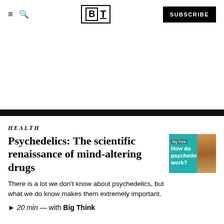Big Think — SUBSCRIBE
[Figure (other): Advertisement area (blank white space)]
HEALTH
Psychedelics: The scientific renaissance of mind-altering drugs
There is a lot we don't know about psychedelics, but what we do know makes them extremely important.
▶ 20 min — with Big Think
[Figure (photo): Thumbnail image with teal background showing psychedelic mushrooms. Text reads: 'How do psychedelics work?']